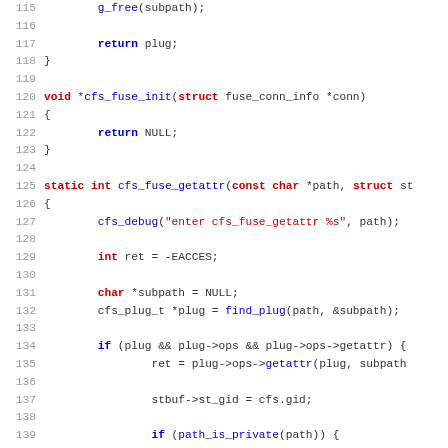[Figure (screenshot): Source code listing in C showing lines 115-147, including functions cfs_fuse_init and cfs_fuse_getattr with syntax highlighting. Line numbers in grey, keywords in blue/red, strings in red, numeric literals in blue.]